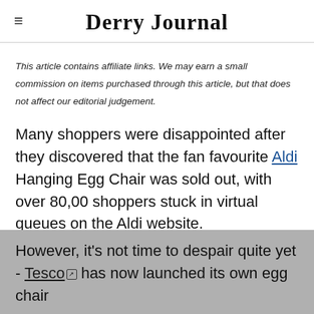Derry Journal
This article contains affiliate links. We may earn a small commission on items purchased through this article, but that does not affect our editorial judgement.
Many shoppers were disappointed after they discovered that the fan favourite Aldi Hanging Egg Chair was sold out, with over 80,00 shoppers stuck in virtual queues on the Aldi website.
However, it's not time to despair quite yet - Tesco has now launched its own egg chair